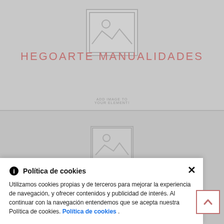[Figure (other): Website screenshot showing Hegoarte Manualidades page with placeholder images and a cookie consent banner overlay. Top section shows site logo placeholder and title 'HEGOARTE MANUALIDADES'. Bottom section shows another placeholder image. A cookie policy banner appears at the bottom with a close button and a scroll-to-top button.]
Política de cookies
Utilizamos cookies propias y de terceros para mejorar la experiencia de navegación, y ofrecer contenidos y publicidad de interés. Al continuar con la navegación entendemos que se acepta nuestra Política de cookies. Política de cookies .